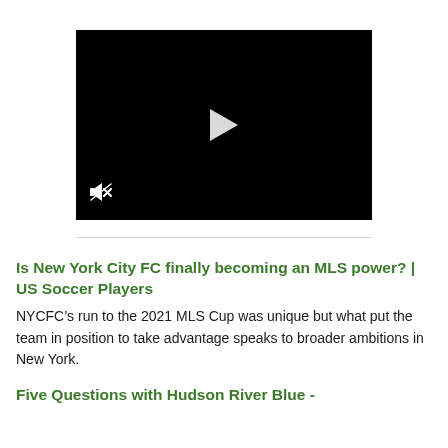[Figure (screenshot): Black video player with a white play triangle in the center and a mute/speaker-off icon in the bottom-left corner.]
Is New York City FC finally becoming an MLS power? | US Soccer Players
NYCFC’s run to the 2021 MLS Cup was unique but what put the team in position to take advantage speaks to broader ambitions in New York.
Five Questions with Hudson River Blue -